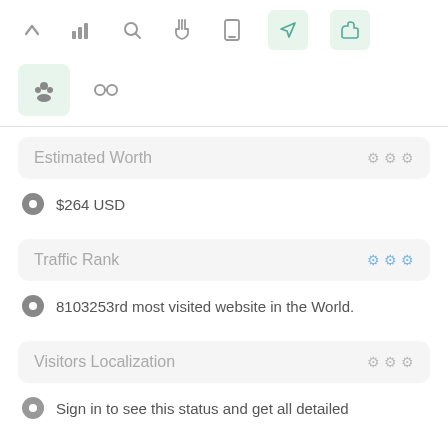[Figure (screenshot): Toolbar with navigation icons: up arrow, bar chart, search, pointer/hand, mobile, location/arrow (highlighted green), thumbs up (highlighted green)]
[Figure (screenshot): Second toolbar row with group/people icon (highlighted green) and link/chain icon]
Estimated Worth
$264 USD
Traffic Rank
8103253rd most visited website in the World.
Visitors Localization
Sign in to see this status and get all detailed